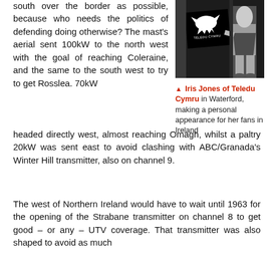south over the border as possible, because who needs the politics of defending doing otherwise? The mast's aerial sent 100kW to the north west with the goal of reaching Coleraine, and the same to the south west to try to get Rosslea. 70kW headed directly west, almost reaching Omagh, whilst a paltry 20kW was sent east to avoid clashing with ABC/Granada's Winter Hill transmitter, also on channel 9.
[Figure (photo): Black and white photo showing Teledu Cymru sign/card and a person, with Iris Jones of Teledu Cymru in Waterford making a personal appearance for her fans in Ireland]
▲ Iris Jones of Teledu Cymru in Waterford, making a personal appearance for her fans in Ireland
The west of Northern Ireland would have to wait until 1963 for the opening of the Strabane transmitter on channel 8 to get good – or any – UTV coverage. That transmitter was also shaped to avoid as much